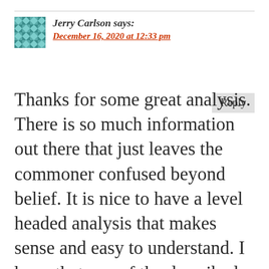Jerry Carlson says:
December 16, 2020 at 12:33 pm
Thanks for some great analysis. There is so much information out there that just leaves the commoner confused beyond belief. It is nice to have a level headed analysis that makes sense and easy to understand. I hope that one of the described options is implemented and Trump remains President.
Keep the faith!!!